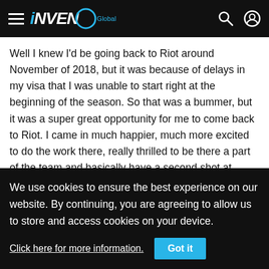INVEN Global
Well I knew I'd be going back to Riot around November of 2018, but it was because of delays in my visa that I was unable to start right at the beginning of the season. So that was a bummer, but it was a super great opportunity for me to come back to Riot. I came in much happier, much more excited to do the work there, really thrilled to be there a part of the team and basically have a second shot at being there.
There was a time where I was supposed to be a Rioter, but again due to Visa problems, I was unable to go for it, and that's why I had to go to Korea. So my entire career really has just
We use cookies to ensure the best experience on our website. By continuing, you are agreeing to allow us to store and access cookies on your device.
Click here for more information.